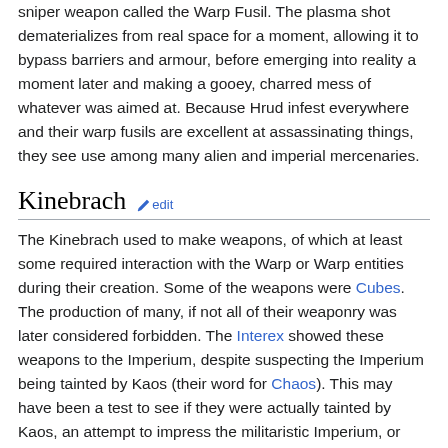sniper weapon called the Warp Fusil. The plasma shot dematerializes from real space for a moment, allowing it to bypass barriers and armour, before emerging into reality a moment later and making a gooey, charred mess of whatever was aimed at. Because Hrud infest everywhere and their warp fusils are excellent at assassinating things, they see use among many alien and imperial mercenaries.
Kinebrach
The Kinebrach used to make weapons, of which at least some required interaction with the Warp or Warp entities during their creation. Some of the weapons were Cubes. The production of many, if not all of their weaponry was later considered forbidden. The Interex showed these weapons to the Imperium, despite suspecting the Imperium being tainted by Kaos (their word for Chaos). This may have been a test to see if they were actually tainted by Kaos, an attempt to impress the militaristic Imperium, or both.